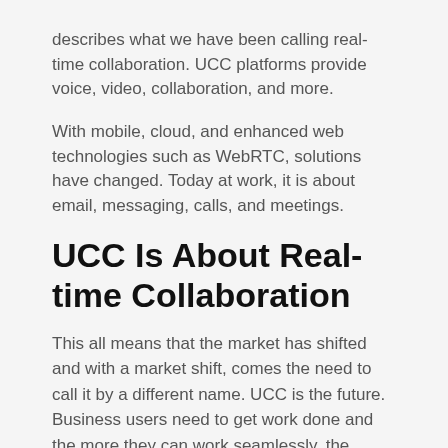describes what we have been calling real-time collaboration. UCC platforms provide voice, video, collaboration, and more.
With mobile, cloud, and enhanced web technologies such as WebRTC, solutions have changed. Today at work, it is about email, messaging, calls, and meetings.
UCC Is About Real-time Collaboration
This all means that the market has shifted and with a market shift, comes the need to call it by a different name. UCC is the future. Business users need to get work done and the more they can work seamlessly, the faster and more effectively the work can be done. So, while voice